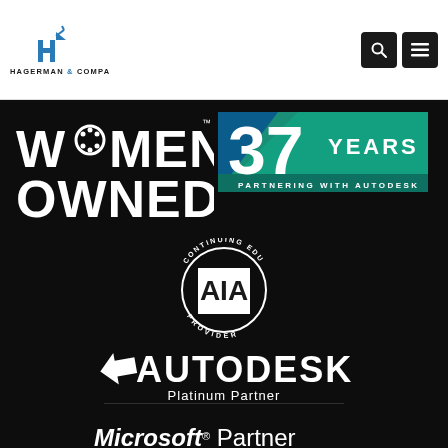[Figure (logo): Hagerman & Company logo with stylized H icon and company name]
[Figure (logo): Search and menu navigation icon buttons (dark squares)]
[Figure (logo): Women Owned badge logo text on dark background]
[Figure (logo): 37 Years Partnering with Autodesk badge with blue/green geometric design]
[Figure (logo): AIA Continuing Education circular logo badge]
[Figure (logo): Autodesk Platinum Partner logo with arrow icon]
[Figure (logo): Microsoft Partner logo text]